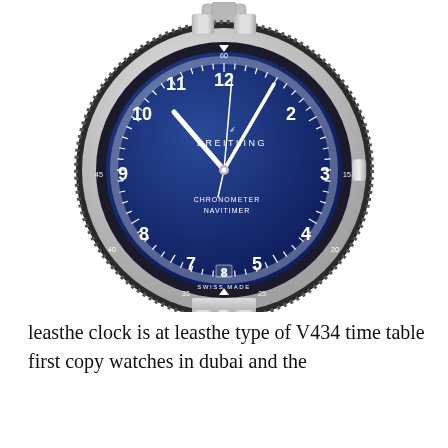[Figure (photo): A Breitling Navitimer watch with blue dial, steel case and bracelet. The dial shows Arabic numerals, BREITLING logo, CHRONOMETER NAVITIMER text, and SWISS MADE inscription. The watch has a rotating bezel with tachymeter markings.]
leasthe clock is at leasthe type of V434 time table first copy watches in dubai and the